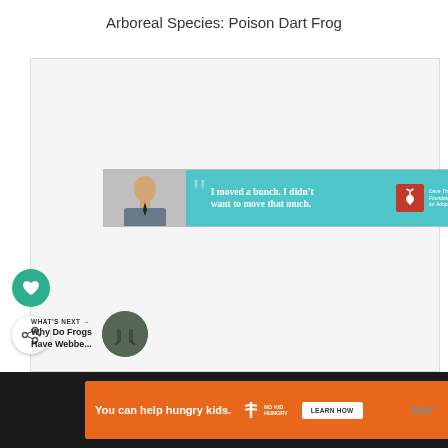Arboreal Species: Poison Dart Frog
[Figure (screenshot): Advertisement banner for Dave Thomas Foundation for Adoption showing a boy with quote 'I moved a bunch. I didn't want to move that much.' with teal background and red logo]
[Figure (infographic): Green circular like/heart button icon]
[Figure (infographic): White circular share/add button icon]
WHAT'S NEXT → Why Do Frogs Have Webbe...
[Figure (screenshot): Bottom advertisement bar: 'You can help hungry kids.' with No Kid Hungry logo and LEARN HOW button on orange background]